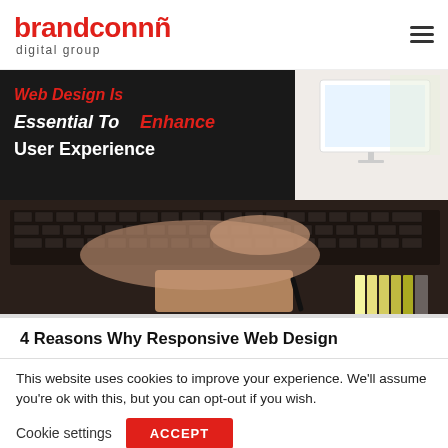brandconn digital group
[Figure (screenshot): Website screenshot showing a laptop keyboard with overlay text: 'Web Design Is Essential To Enhance User Experience' on a dark background, with a desktop monitor visible in the upper right corner.]
4 Reasons Why Responsive Web Design
This website uses cookies to improve your experience. We'll assume you're ok with this, but you can opt-out if you wish.
Cookie settings  ACCEPT